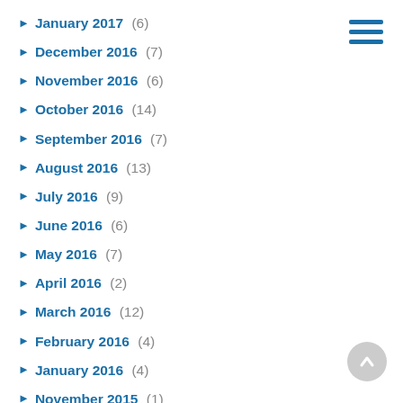January 2017 (6)
December 2016 (7)
November 2016 (6)
October 2016 (14)
September 2016 (7)
August 2016 (13)
July 2016 (9)
June 2016 (6)
May 2016 (7)
April 2016 (2)
March 2016 (12)
February 2016 (4)
January 2016 (4)
November 2015 (1)